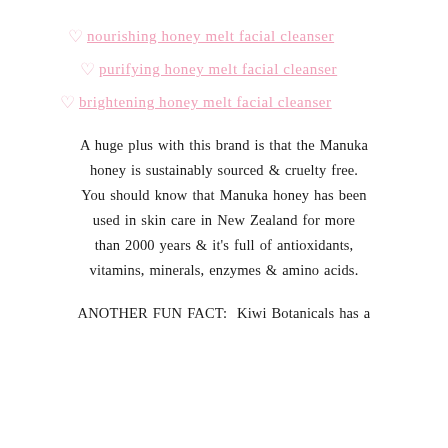♡ nourishing honey melt facial cleanser
♡ purifying honey melt facial cleanser
♡ brightening honey melt facial cleanser
A huge plus with this brand is that the Manuka honey is sustainably sourced & cruelty free. You should know that Manuka honey has been used in skin care in New Zealand for more than 2000 years & it's full of antioxidants, vitamins, minerals, enzymes & amino acids.
ANOTHER FUN FACT:  Kiwi Botanicals has a